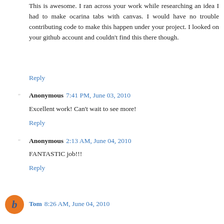This is awesome. I ran across your work while researching an idea I had to make ocarina tabs with canvas. I would have no trouble contributing code to make this happen under your project. I looked on your github account and couldn't find this there though.
Reply
Anonymous 7:41 PM, June 03, 2010
Excellent work! Can't wait to see more!
Reply
Anonymous 2:13 AM, June 04, 2010
FANTASTIC job!!!
Reply
Tom 8:26 AM, June 04, 2010